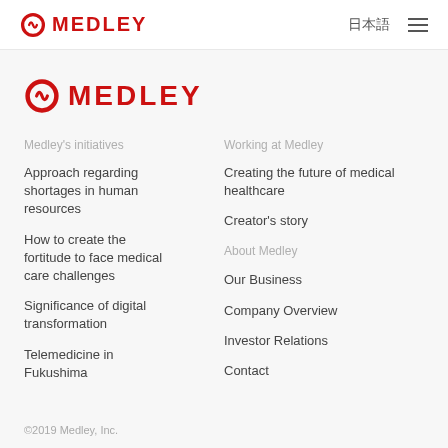MEDLEY  日本語  ☰
[Figure (logo): Medley logo with red circular icon and red MEDLEY text]
Medley's initiatives
Working at Medley
Approach regarding shortages in human resources
Creating the future of medical healthcare
How to create the fortitude to face medical care challenges
Creator's story
Significance of digital transformation
About Medley
Telemedicine in Fukushima
Our Business
Company Overview
Investor Relations
Contact
©2019 Medley, Inc.